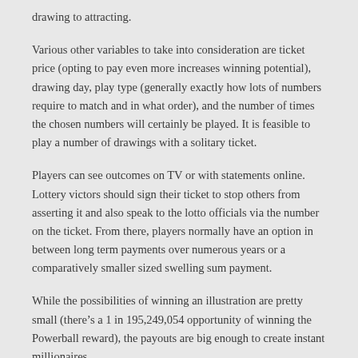drawing to attracting.
Various other variables to take into consideration are ticket price (opting to pay even more increases winning potential), drawing day, play type (generally exactly how lots of numbers require to match and in what order), and the number of times the chosen numbers will certainly be played. It is feasible to play a number of drawings with a solitary ticket.
Players can see outcomes on TV or with statements online. Lottery victors should sign their ticket to stop others from asserting it and also speak to the lotto officials via the number on the ticket. From there, players normally have an option in between long term payments over numerous years or a comparatively smaller sized swelling sum payment.
While the possibilities of winning an illustration are pretty small (there’s a 1 in 195,249,054 opportunity of winning the Powerball reward), the payouts are big enough to create instant millionaires.
Running NC Lottery Game Champion...